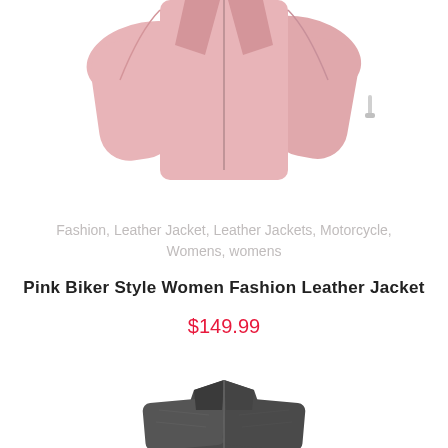[Figure (photo): Pink biker style women's leather jacket, cropped view showing collar and zipper details on white background]
Fashion, Leather Jacket, Leather Jackets, Motorcycle, Womens, womens
Pink Biker Style Women Fashion Leather Jacket
$149.99
[Figure (photo): Dark grey/black leather jacket, partially visible at bottom of page]